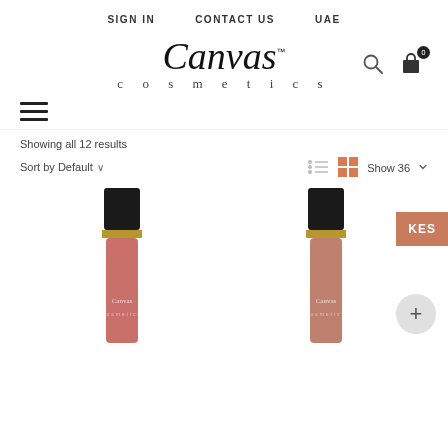SIGN IN   CONTACT US   UAE
[Figure (logo): Canvas Cosmetics logo with script font and search/cart icons]
[Figure (other): Hamburger menu icon (three horizontal lines)]
Showing all 12 results
Sort by Default ∨
[Figure (screenshot): Two Canvas Cosmetics lip gloss tubes with black caps and gold trim, partially visible at bottom of page]